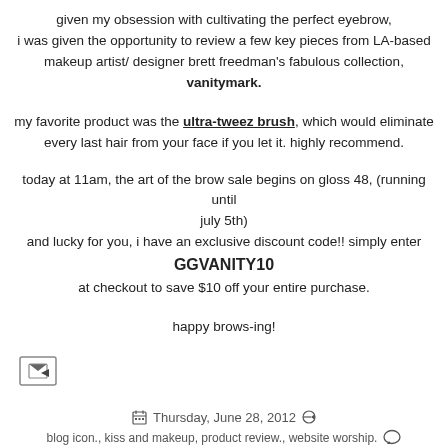given my obsession with cultivating the perfect eyebrow, i was given the opportunity to review a few key pieces from LA-based makeup artist/ designer brett freedman's fabulous collection, vanitymark.
my favorite product was the ultra-tweez brush, which would eliminate every last hair from your face if you let it. highly recommend.
today at 11am, the art of the brow sale begins on gloss 48, (running until july 5th) and lucky for you, i have an exclusive discount code!! simply enter GGVANITY10 at checkout to save $10 off your entire purchase.
happy brows-ing!
[Figure (other): Email forward/share icon button]
Thursday, June 28, 2012 | blog icon., kiss and makeup, product review., website worship. | Leave a Comment